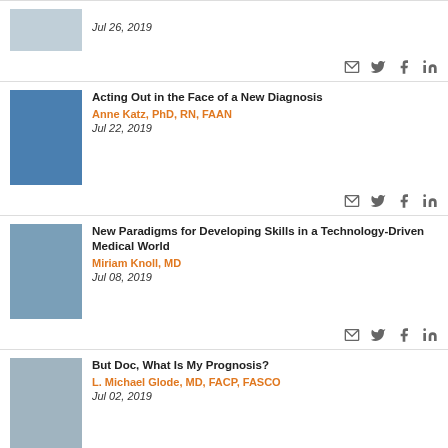[Figure (photo): Partial photo of a woman, cropped at top of card]
Jul 26, 2019
[Figure (photo): Photo of Anne Katz, bald woman in black top]
Acting Out in the Face of a New Diagnosis
Anne Katz, PhD, RN, FAAN
Jul 22, 2019
[Figure (photo): Photo of Miriam Knoll, woman with brown hair]
New Paradigms for Developing Skills in a Technology-Driven Medical World
Miriam Knoll, MD
Jul 08, 2019
[Figure (photo): Photo of L. Michael Glode, older man in white coat]
But Doc, What Is My Prognosis?
L. Michael Glode, MD, FACP, FASCO
Jul 02, 2019